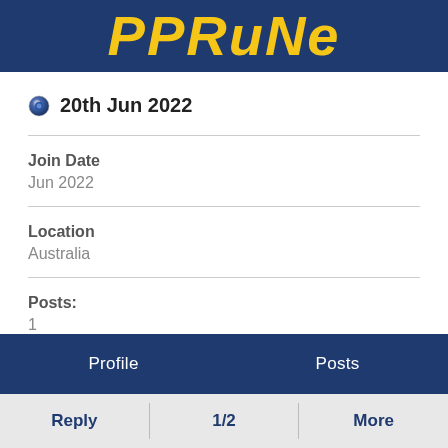PPRuNe
20th Jun 2022
Join Date
Jun 2022
Location
Australia
Posts:
1
Profile   Posts
Reply   1/2   More